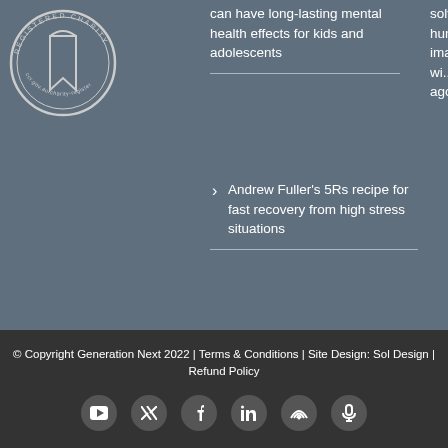[Figure (logo): Registered Charity circular logo/seal]
can have long-lasting mental health effects for kids and adolescents
Andrew Fuller's 5Rs recipe for fast recovery from high stress situations
solve the challenges facing humanity, but it's difficult to imagine we can address them wi... twitter.com/i/w... 9 months ago
© Copyright Generation Next 2022 | Terms & Conditions | Site Design: Sol Design | Refund Policy